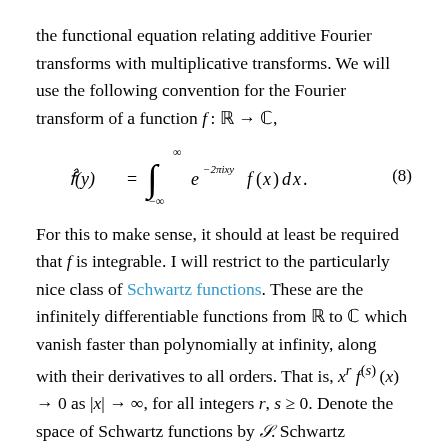the functional equation relating additive Fourier transforms with multiplicative transforms. We will use the following convention for the Fourier transform of a function f: ℝ → ℂ,
For this to make sense, it should at least be required that f is integrable. I will restrict to the particularly nice class of Schwartz functions. These are the infinitely differentiable functions from ℝ to ℂ which vanish faster than polynomially at infinity, along with their derivatives to all orders. That is, x^r f^(s)(x) → 0 as |x| → ∞, for all integers r, s ≥ 0. Denote the space of Schwartz functions by S. Schwartz functions are integrable and it is known that their Fourier transforms